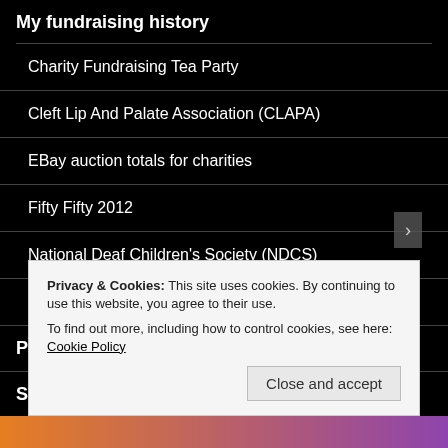My fundraising history
Charity Fundraising Tea Party
Cleft Lip And Palate Association (CLAPA)
EBay auction totals for charities
Fifty Fifty 2012
National Deaf Children's Society (NDCS)
Running for Children with Cancer UK
Patrons
So why Fifty Gigs In A Day?
Privacy & Cookies: This site uses cookies. By continuing to use this website, you agree to their use.
To find out more, including how to control cookies, see here: Cookie Policy
Close and accept